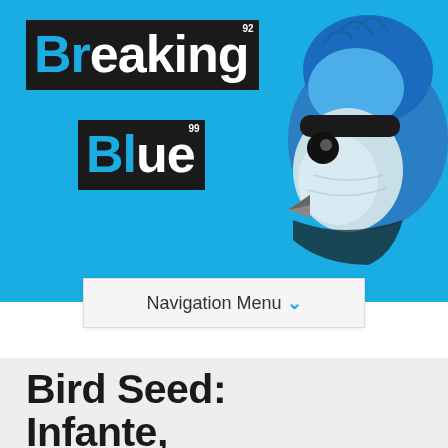[Figure (logo): Breaking Blue blog logo on cyan/blue background with illustration of a blue jay bird on the right side. Logo shows 'Breaking' in white text on black rectangle and 'Blue' in cyan text on black rectangle, styled like periodic table elements with atomic numbers 92 and 99.]
Navigation Menu ˅
Bird Seed: Infante, Trumbo, Others on